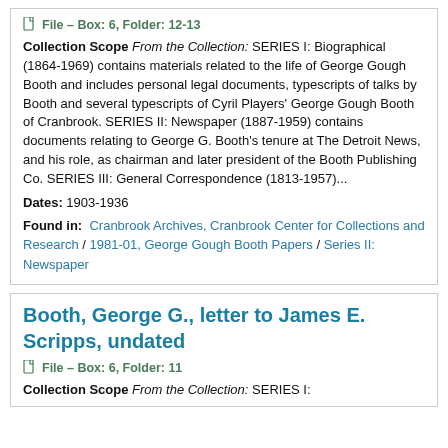File – Box: 6, Folder: 12-13
Collection Scope From the Collection: SERIES I: Biographical (1864-1969) contains materials related to the life of George Gough Booth and includes personal legal documents, typescripts of talks by Booth and several typescripts of Cyril Players' George Gough Booth of Cranbrook. SERIES II: Newspaper (1887-1959) contains documents relating to George G. Booth's tenure at The Detroit News, and his role, as chairman and later president of the Booth Publishing Co. SERIES III: General Correspondence (1813-1957)...
Dates: 1903-1936
Found in: Cranbrook Archives, Cranbrook Center for Collections and Research / 1981-01, George Gough Booth Papers / Series II: Newspaper
Booth, George G., letter to James E. Scripps, undated
File – Box: 6, Folder: 11
Collection Scope From the Collection: SERIES I: